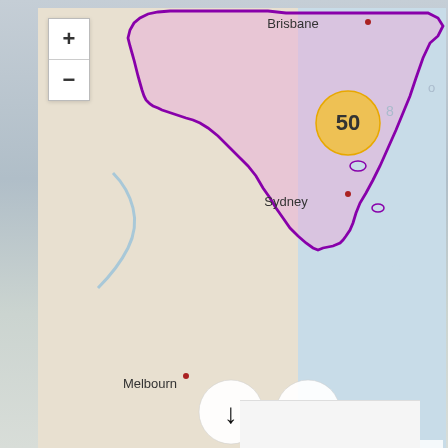[Figure (map): Interactive map of southeastern Australia showing New South Wales outlined in purple/magenta, with Brisbane to the north, Sydney on the east coast, and Melbourne to the south. A yellow cluster marker showing '50' appears near the coast north of Sydney. The map has OpenStreetMap styling with blue ocean, beige/cream land, and a purple-outlined NSW region shaded in light pink. Navigation controls include +/- zoom buttons and up/down arrow buttons. Attribution reads 'OSM, © Mapio.net' with a house icon. Below the map is a white/light gray panel area. The background of the page shows a faded harbor/marina photo.]